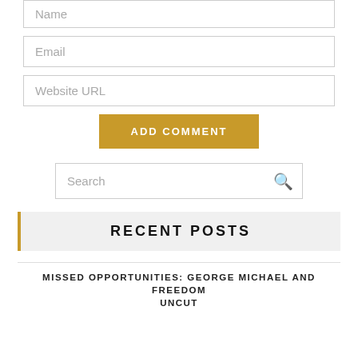Name
Email
Website URL
ADD COMMENT
Search
RECENT POSTS
MISSED OPPORTUNITIES: GEORGE MICHAEL AND FREEDOM UNCUT